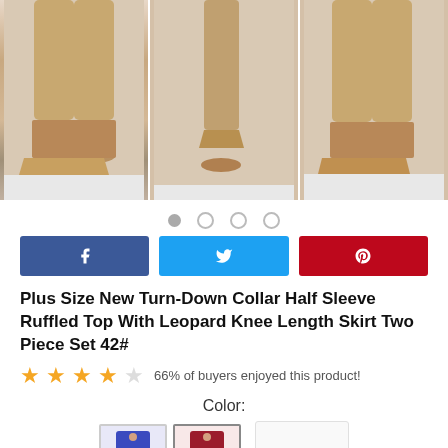[Figure (photo): Three side-by-side photos showing the lower half of a person wearing a leopard print skirt and nude high heels, shown from front, side, and front angles.]
[Figure (infographic): Row of four navigation dots, first one filled/gray, three empty circles.]
[Figure (infographic): Three social share buttons: Facebook (blue), Twitter (cyan), Pinterest (red).]
Plus Size New Turn-Down Collar Half Sleeve Ruffled Top With Leopard Knee Length Skirt Two Piece Set 42#
66% of buyers enjoyed this product!
Color:
[Figure (photo): Two small product thumbnail images showing the two-piece set: one in blue/leopard print and one in red/leopard print. A right-arrow navigation box is visible to the right.]
Size: